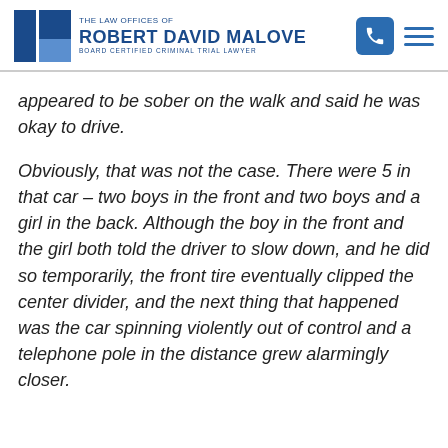The Law Offices of Robert David Malove — Board Certified Criminal Trial Lawyer
appeared to be sober on the walk and said he was okay to drive.
Obviously, that was not the case. There were 5 in that car – two boys in the front and two boys and a girl in the back. Although the boy in the front and the girl both told the driver to slow down, and he did so temporarily, the front tire eventually clipped the center divider, and the next thing that happened was the car spinning violently out of control and a telephone pole in the distance grew alarmingly closer.